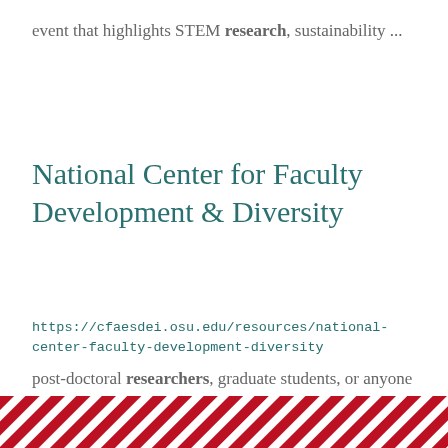event that highlights STEM research, sustainability ...
National Center for Faculty Development & Diversity
https://cfaesdei.osu.edu/resources/national-center-faculty-development-diversity
post-doctoral researchers, graduate students, or anyone with or pursuing a doctorate or terminal degree have ...
1 2 3 4 5 6 7 8 9 …next › last »